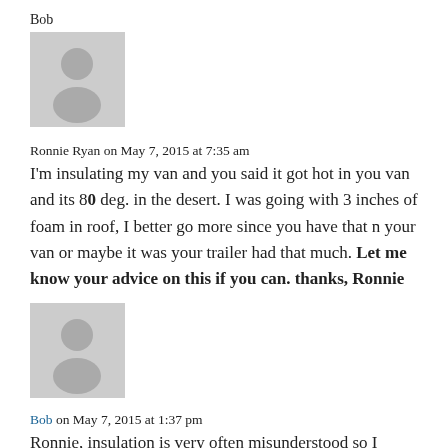Bob
[Figure (illustration): Gray avatar placeholder with person silhouette icon]
Ronnie Ryan on May 7, 2015 at 7:35 am
I'm insulating my van and you said it got hot in you van and its 80 deg. in the desert. I was going with 3 inches of foam in roof, I better go more since you have that n your van or maybe it was your trailer had that much. Let me know your advice on this if you can. thanks, Ronnie
[Figure (illustration): Gray avatar placeholder with person silhouette icon]
Bob on May 7, 2015 at 1:37 pm
Ronnie, insulation is very often misunderstood so I